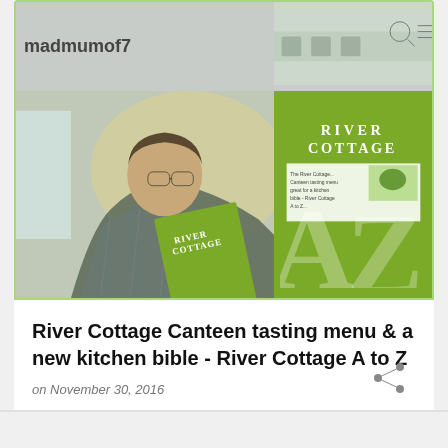[Figure (photo): Screenshot of a blog/website card showing two photos: left photo shows a person holding a River Cottage book with username 'madmumof7' visible at top, right side shows two images - top is a blurred shelf/kitchen scene and bottom is a close-up of the River Cottage A to Z book cover in green.]
River Cottage Canteen tasting menu & a new kitchen bible - River Cottage A to Z
on November 30, 2016